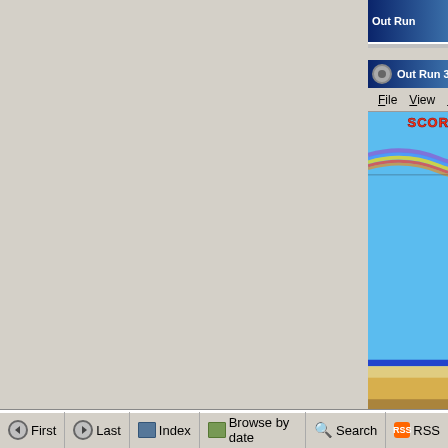[Figure (screenshot): Partial screenshot of a Windows desktop showing the Cogwheel Sega 8-Bit Emulator running Out Run 3-D. The emulator window has a title bar reading 'Out Run 3-D - Cogwheel Sega 8-Bit Emulator', a menu bar with File/View/Emulation/Options/Help menus, and a game screen displaying the Out Run 3-D gameplay with SCORE, TIME (80), HUD elements, a large decorative column, rainbow/chain graphic, and a beach/road scene.]
First   Last   Index   Browse by date   Search   RSS